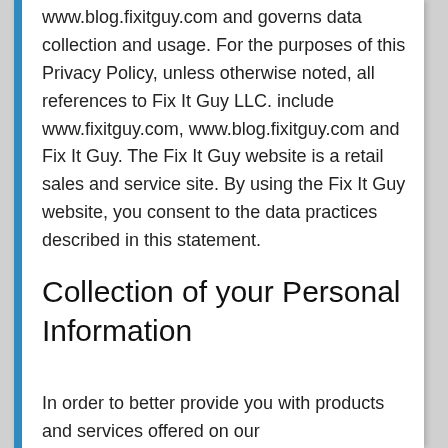www.blog.fixitguy.com and governs data collection and usage. For the purposes of this Privacy Policy, unless otherwise noted, all references to Fix It Guy LLC. include www.fixitguy.com, www.blog.fixitguy.com and Fix It Guy. The Fix It Guy website is a retail sales and service site. By using the Fix It Guy website, you consent to the data practices described in this statement.
Collection of your Personal Information
In order to better provide you with products and services offered on our